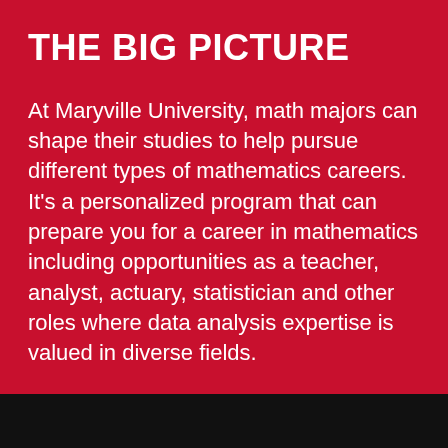THE BIG PICTURE
At Maryville University, math majors can shape their studies to help pursue different types of mathematics careers. It's a personalized program that can prepare you for a career in mathematics including opportunities as a teacher, analyst, actuary, statistician and other roles where data analysis expertise is valued in diverse fields.
SALARY
[Figure (other): Black bar at the bottom of the page, partially visible, indicating a section below]